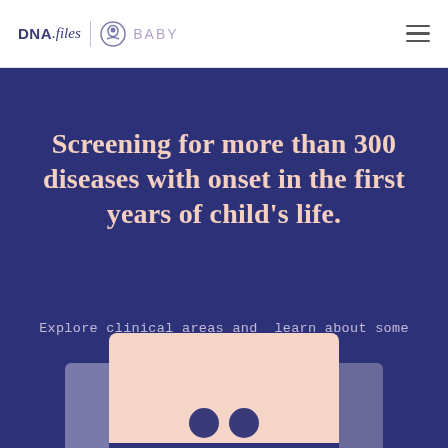DNA.files | BABY
Screening for more than 300 diseases with onset in the first years of child's life.
Explore clinical areas and learn about some of the screened diseases.
[Figure (illustration): Bottom portion of a card carousel showing a pink card in the center and partial purple cards on either side, with DNA/baby icon circles at the bottom of the pink card]